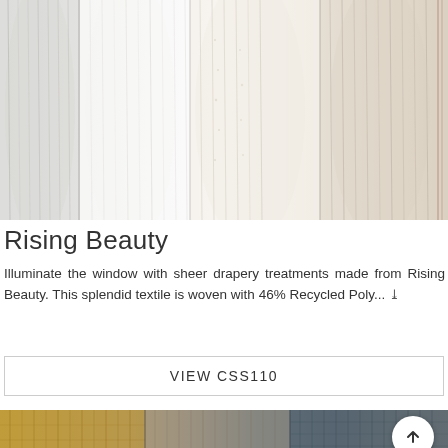[Figure (photo): Close-up photograph of sheer fabric swatches in white, light grey, cream, and beige tones with vertical texture stripes]
Rising Beauty
Illuminate the window with sheer drapery treatments made from Rising Beauty. This splendid textile is woven with 46% Recycled Poly... ❯❯
VIEW CSS110
[Figure (photo): Close-up photograph of woven fabric swatches in golden yellow, beige, dark blue-grey, and charcoal tones]